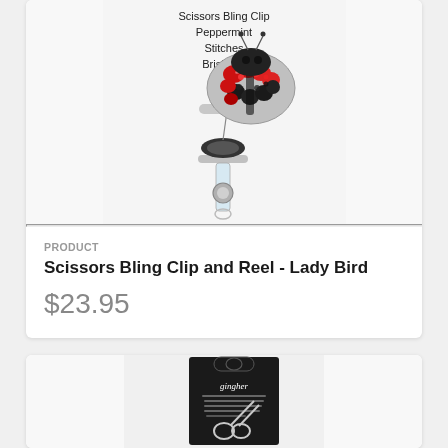[Figure (photo): A ladybird/ladybug themed scissors bling clip and reel with red and black rhinestones, attached to a retractable badge reel with clear plastic strap. Text overlay reads: Scissors Bling Clip, Peppermint Stitches, Brisbane]
PRODUCT
Scissors Bling Clip and Reel - Lady Bird
$23.95
[Figure (photo): Product in black packaging with Gingher branding, showing scissors with silver handles on a dark background]